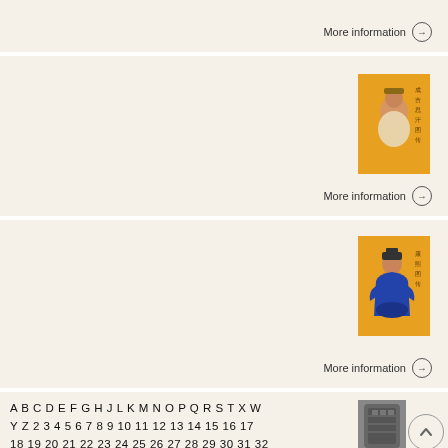More information →
[Figure (illustration): Book cover with Chinese historical figure on orange/yellow background with Chinese text]
More information →
[Figure (illustration): Book cover with Chinese emperor seated in blue robe on orange/yellow background with Chinese text]
More information →
A B C D E F G H J L K M N O P Q R S T X W Y Z 2 3 4 5 6 7 8 9 10 11 12 13 14 15 16 17 18 19 20 21 22 23 24 25 26 27 28 29 30 31 32 33 34 35 36 37 38 39 40 41 42 43 44 45
[Figure (photo): Ancient Chinese bronze artifact or vessel]